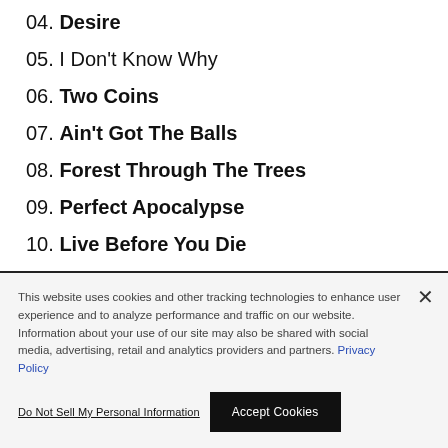04. Desire
05. I Don't Know Why
06. Two Coins
07. Ain't Got The Balls
08. Forest Through The Trees
09. Perfect Apocalypse
10. Live Before You Die
11. I'm The One
This website uses cookies and other tracking technologies to enhance user experience and to analyze performance and traffic on our website. Information about your use of our site may also be shared with social media, advertising, retail and analytics providers and partners. Privacy Policy
Do Not Sell My Personal Information
Accept Cookies